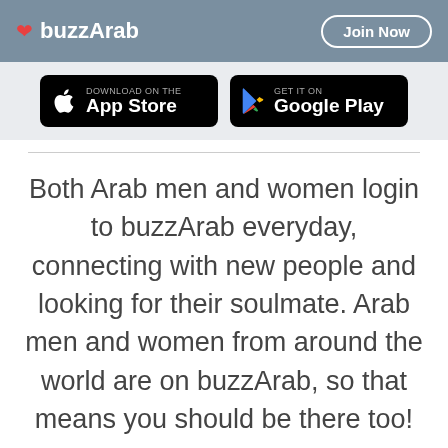buzzArab | Join Now
[Figure (screenshot): App Store and Google Play download buttons on dark background bar]
Both Arab men and women login to buzzArab everyday, connecting with new people and looking for their soulmate. Arab men and women from around the world are on buzzArab, so that means you should be there too!